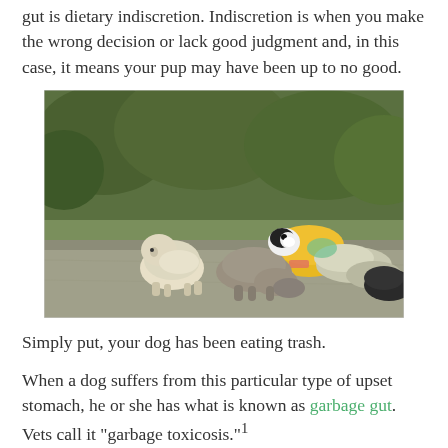gut is dietary indiscretion. Indiscretion is when you make the wrong decision or lack good judgment and, in this case, it means your pup may have been up to no good.
[Figure (photo): Three stray dogs rummaging through a pile of trash and garbage bags on a street, with green vegetation in the background.]
Simply put, your dog has been eating trash.
When a dog suffers from this particular type of upset stomach, he or she has what is known as garbage gut. Vets call it “garbage toxicosis.”¹
Whether or not your pup is finding this junk in your